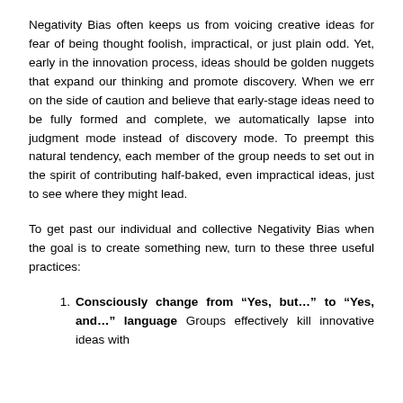Negativity Bias often keeps us from voicing creative ideas for fear of being thought foolish, impractical, or just plain odd. Yet, early in the innovation process, ideas should be golden nuggets that expand our thinking and promote discovery. When we err on the side of caution and believe that early-stage ideas need to be fully formed and complete, we automatically lapse into judgment mode instead of discovery mode. To preempt this natural tendency, each member of the group needs to set out in the spirit of contributing half-baked, even impractical ideas, just to see where they might lead.
To get past our individual and collective Negativity Bias when the goal is to create something new, turn to these three useful practices:
Consciously change from "Yes, but..." to "Yes, and..." language Groups effectively kill innovative ideas with